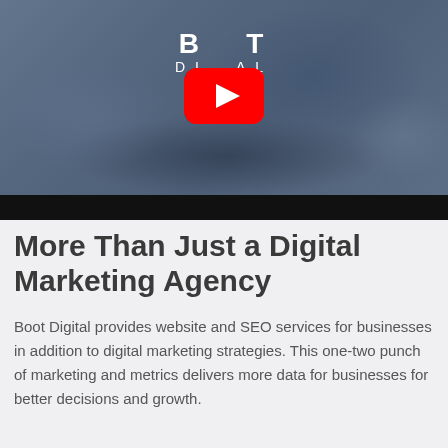[Figure (screenshot): Embedded video thumbnail showing a blurred office/workspace scene with people working at desks. A YouTube play button (red rectangle with white triangle) is centered over the image. The 'Boot Digital' logo with 'DIGITAL' in smaller letters is overlaid at the top center. Below the video frame is a black bar (video controls area).]
More Than Just a Digital Marketing Agency
Boot Digital provides website and SEO services for businesses in addition to digital marketing strategies. This one-two punch of marketing and metrics delivers more data for businesses for better decisions and growth.